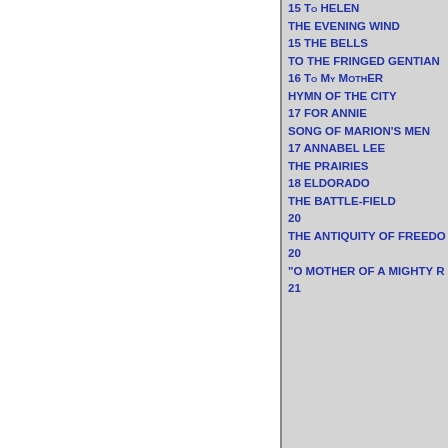15 To HELEN
THE EVENING WIND
15 THE BELLS
TO THE FRINGED GENTIAN
16 To MY MotHER
HYMN OF THE CITY
17 FOR ANNIE
SONG OF MARION'S MEN
17 ANNABEL LEE
THE PRAIRIES
18 ELDORADO
THE BATTLE-FIELD
20
THE ANTIQUITY OF FREEDOM
20
"O MOTHER OF A MIGHTY R
21